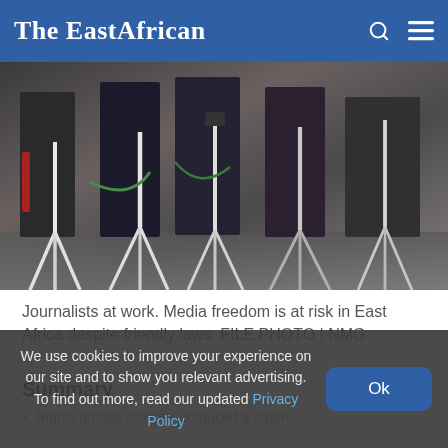The EastAfrican
[Figure (photo): Journalists at work with camera tripods and equipment, silhouettes of people standing among multiple tripods]
Journalists at work. Media freedom is at risk in East Africa despite friendly laws. FILE PHOTO | NMG
Summary
Rights groups recently produced a report
We use cookies to improve your experience on our site and to show you relevant advertising. To find out more, read our updated Privacy Policy